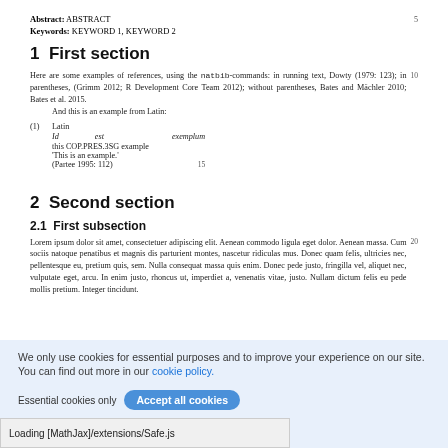Abstract: ABSTRACT   5
Keywords: KEYWORD 1, KEYWORD 2
1  First section
Here are some examples of references, using the natbib-commands: in running text, Dowty (1979: 123); in parentheses, (Grimm 2012; R Development Core Team 2012); without parentheses, Bates and Mächler 2010; Bates et al. 2015.
And this is an example from Latin:
(1) Latin
Id est exemplum
this COP.PRES.3SG example
'This is an example.'
(Partee 1995: 112)
2  Second section
2.1  First subsection
Lorem ipsum dolor sit amet, consectetuer adipiscing elit. Aenean commodo ligula eget dolor. Aenean massa. Cum sociis natoque penatibus et magnis dis parturient montes, nascetur ridiculas mus. Donec quam felis, ultricies nec, pellentesque eu, pretium quis, sem. Nulla consequat massa quis enim. Donec pede justo, fringilla vel, aliquet nec, vulputate eget, arcu. In enim justo, rhoncus ut, imperdiet a, venenatis vitae, justo. Nullam dictum felis eu pede mollis pretium. Integer tincidunt.
We only use cookies for essential purposes and to improve your experience on our site. You can find out more in our cookie policy.
Essential cookies only   Accept all cookies
Loading [MathJax]/extensions/Safe.js